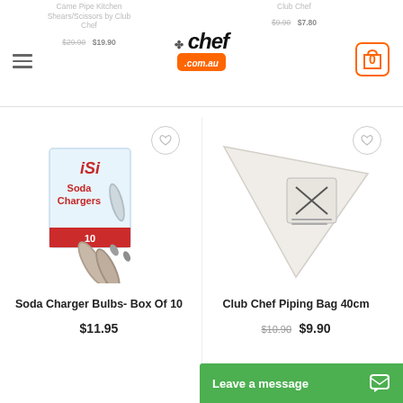chef.com.au — navigation header with logo and cart
Came Pipe Kitchens Shears/Scissors by Club Chef $29.90 $19.90
Club Chef $9.90 $7.80
[Figure (photo): iSi Soda Chargers box of 10 with two soda charger bulbs in front]
Soda Charger Bulbs- Box Of 10
$11.95
[Figure (photo): Club Chef white triangular disposable piping bag 40cm]
Club Chef Piping Bag 40cm
$10.90 $9.90
Leave a message